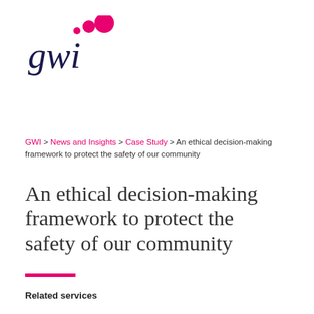[Figure (logo): GWI logo with three dots (small pink, medium pink, large magenta) above stylized 'gwi' text in dark navy]
GWI > News and Insights > Case Study > An ethical decision-making framework to protect the safety of our community
An ethical decision-making framework to protect the safety of our community
Related services